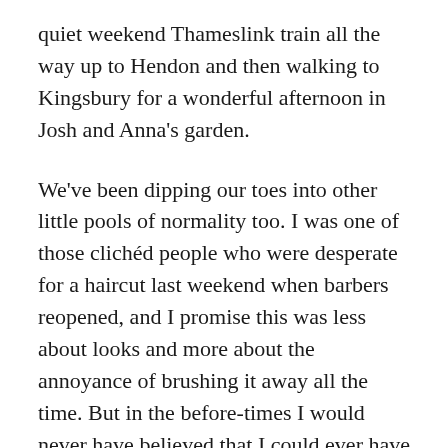quiet weekend Thameslink train all the way up to Hendon and then walking to Kingsbury for a wonderful afternoon in Josh and Anna's garden.
We've been dipping our toes into other little pools of normality too. I was one of those clichéd people who were desperate for a haircut last weekend when barbers reopened, and I promise this was less about looks and more about the annoyance of brushing it away all the time. But in the before-times I would never have believed that I could ever have found a haircut so... exhilarating. Even more excitingly, Randi and I finally found the perfect place for a holiday at the end of this month after many desperate days of trying to fulfil a long list of criteria. So now we are both extremely keen to